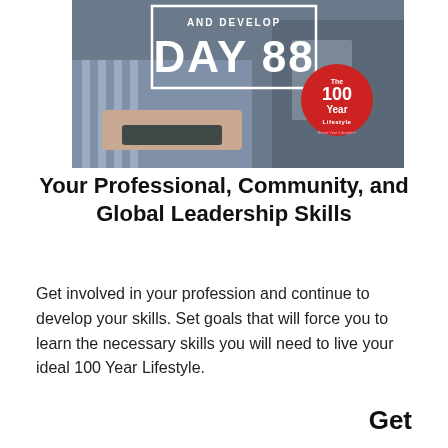[Figure (photo): Person typing on laptop with 'Get Involved and Develop Day 88' overlay text and The 100 Year Lifestyle badge]
Your Professional, Community, and Global Leadership Skills
Get involved in your profession and continue to develop your skills. Set goals that will force you to learn the necessary skills you will need to live your ideal 100 Year Lifestyle.
Get